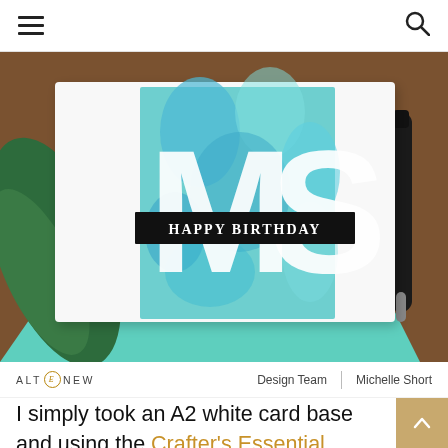Navigation menu icon and search icon
[Figure (photo): Close-up photo of a handmade birthday card with teal/blue alcohol ink background and large white die-cut letters. A black banner reads 'HAPPY BIRTHDAY' in white serif text. The card is placed on a brown surface with teal paper, green leaves and a dark pen visible.]
ALTENEW   Design Team  |  Michelle Short
I simply took an A2 white card base and using the Crafter's Essential Bone Folder and a score board, scored horizontal lines in to the front of the card base. This gives